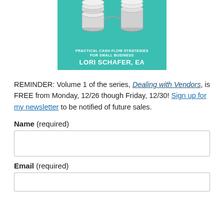[Figure (illustration): Book cover for 'Practical Cash Flow Strategies for Small Business' by Lori Schafer, EA. Teal/turquoise background with stacked coin images at top, subtitle text in white uppercase, and author name in large bold white text.]
REMINDER: Volume 1 of the series, Dealing with Vendors, is FREE from Monday, 12/26 though Friday, 12/30! Sign up for my newsletter to be notified of future sales.
Name (required)
Email (required)